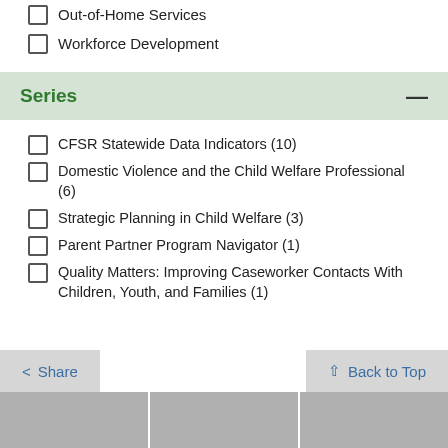Out-of-Home Services
Workforce Development
Series
CFSR Statewide Data Indicators (10)
Domestic Violence and the Child Welfare Professional (6)
Strategic Planning in Child Welfare (3)
Parent Partner Program Navigator (1)
Quality Matters: Improving Caseworker Contacts With Children, Youth, and Families (1)
Share   Back to Top